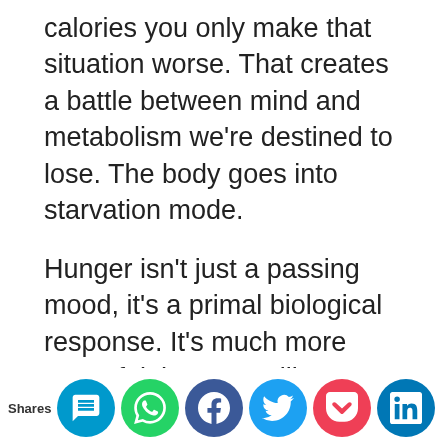calories you only make that situation worse. That creates a battle between mind and metabolism we're destined to lose. The body goes into starvation mode.
Hunger isn't just a passing mood, it's a primal biological response. It's much more powerful than our willpower. Yes you lose the same weight on 1,000 calories of junk food versus 1,000 calories of high nutrition. But you'll be feeling entirely differently. Your metabolic state will be different and the likelihood that you'll succeed for the next two months, let alone the rest of your life will be dramatically different.
Shares [social share icons: SMS, WhatsApp, Facebook, Twitter, Pocket, LinkedIn]